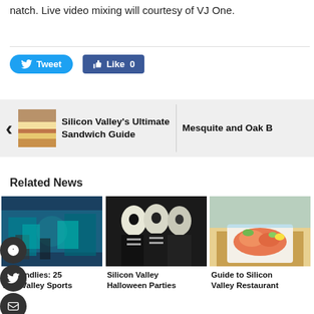natch. Live video mixing will courtesy of VJ One.
[Figure (screenshot): Tweet button (blue rounded) and Like 0 button (blue Facebook style)]
[Figure (screenshot): Navigation row with left arrow, sandwich thumbnail, 'Silicon Valley's Ultimate Sandwich Guide' title, and 'Mesquite and Oak B...' title on right]
Related News
[Figure (photo): Crowd of sports fans in teal jerseys cheering]
n Friendlies: 25 icon Valley Sports
[Figure (photo): Three women in skeleton Halloween costumes and face paint]
Silicon Valley Halloween Parties
[Figure (photo): Plated food dish at a restaurant, salmon or seafood on white square plate]
Guide to Silicon Valley Restaurant